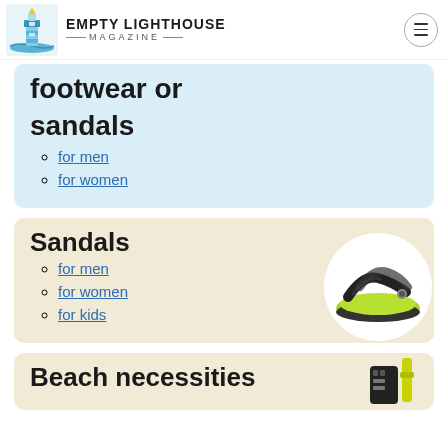EMPTY LIGHTHOUSE MAGAZINE
footwear or sandals
for men
for women
Sandals
for men
for women
for kids
[Figure (photo): A black and green flip-flop sandal on a white circular background]
Beach necessities
[Figure (photo): Beach necessities items including a black case and yellow strap on a circular background]